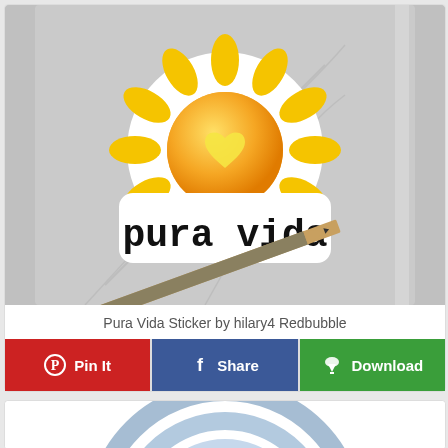[Figure (photo): A sticker showing a sun with a heart in the center and the text 'pura vida' below it, placed on a gray notebook with a pencil in the foreground. Product from Redbubble.]
Pura Vida Sticker by hilary4 Redbubble
Pin It
Share
Download
[Figure (illustration): Partial view of a circular blue swirl illustration at the bottom of the page.]